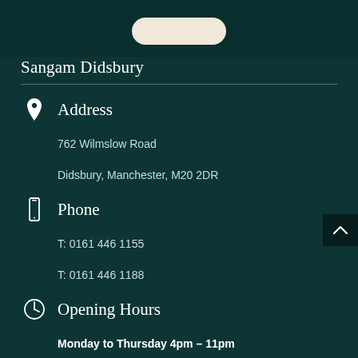[Figure (other): Top decorative bar with a light beige rounded pill/capsule shape on a dark teal background]
Sangam Didsbury
Address
762 Wilmslow Road
Didsbury, Manchester, M20 2DR
Phone
T: 0161 446 1155
T: 0161 446 1188
Opening Hours
Monday to Thursday 4pm – 11pm